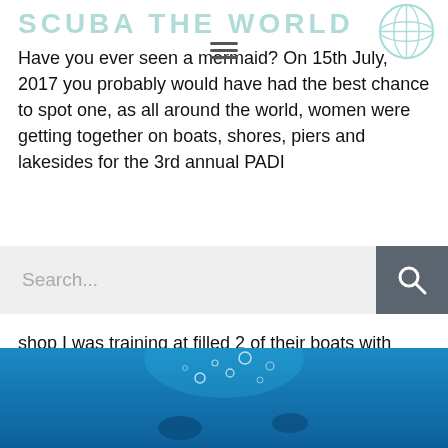SCUBA THE WORLD
Have you ever seen a mermaid? On 15th July 2017 you probably would have had the best chance to spot one, as all around the world, women were getting together on boats, shores, piers and lakesides for the 3rd annual PADI
shop I was training at filled 2 of their boats with ladies only, plus 2 lucky captains and photographer Mario, and set out to our local sites here in Playa Del Cocos.
[Figure (photo): Underwater photo with blue water and bubbles, appears to show a diver or mermaid figure]